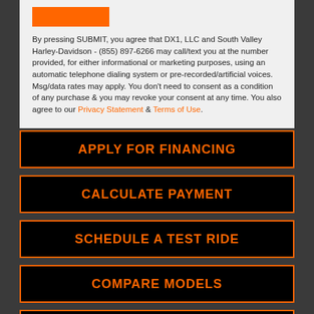[Figure (other): Orange rectangle button element at top of form section]
By pressing SUBMIT, you agree that DX1, LLC and South Valley Harley-Davidson - (855) 897-6266 may call/text you at the number provided, for either informational or marketing purposes, using an automatic telephone dialing system or pre-recorded/artificial voices. Msg/data rates may apply. You don't need to consent as a condition of any purchase & you may revoke your consent at any time. You also agree to our Privacy Statement & Terms of Use.
APPLY FOR FINANCING
CALCULATE PAYMENT
SCHEDULE A TEST RIDE
COMPARE MODELS
VALUE YOUR TRADE